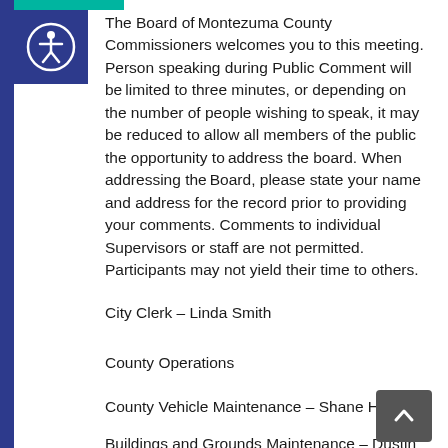[Figure (illustration): Accessibility icon (person with circle) in a dark blue square box, with teal accent bar above]
The Board of Montezuma County Commissioners welcomes you to this meeting. Person speaking during Public Comment will be limited to three minutes, or depending on the number of people wishing to speak, it may be reduced to allow all members of the public the opportunity to address the board. When addressing the Board, please state your name and address for the record prior to providing your comments. Comments to individual Supervisors or staff are not permitted. Participants may not yield their time to others.
City Clerk – Linda Smith
County Operations
County Vehicle Maintenance – Shane Higman
Buildings and Grounds Maintenance – Dustin